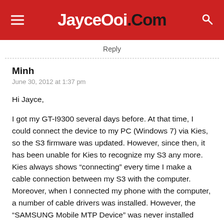JayceOoi.com
Reply
Minh
June 30, 2012 at 1:37 pm
Hi Jayce,

I got my GT-I9300 several days before. At that time, I could connect the device to my PC (Windows 7) via Kies, so the S3 firmware was updated. However, since then, it has been unable for Kies to recognize my S3 any more. Kies always shows “connecting” every time I make a cable connection between my S3 with the computer. Moreover, when I connected my phone with the computer, a number of cable drivers was installed. However, the “SAMSUNG Mobile MTP Device” was never installed successfully.

Could you please help me to fix this problem, please.